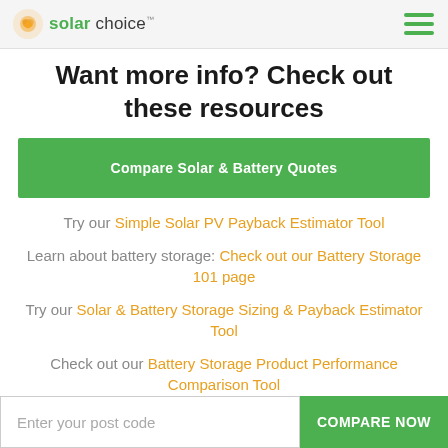Solar Choice logo and navigation menu
Want more info? Check out these resources
Compare Solar & Battery Quotes
Try our Simple Solar PV Payback Estimator Tool
Learn about battery storage: Check out our Battery Storage 101 page
Try our Solar & Battery Storage Sizing & Payback Estimator Tool
Check out our Battery Storage Product Performance Comparison Tool
Enter your post code   COMPARE NOW